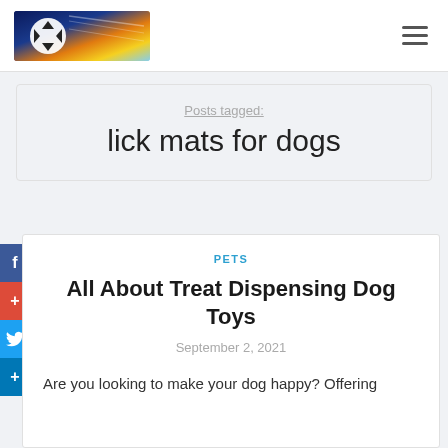[Figure (logo): Website logo banner with soccer ball and colorful gradient background (blue, orange, yellow)]
Posts tagged:
lick mats for dogs
PETS
All About Treat Dispensing Dog Toys
September 2, 2021
Are you looking to make your dog happy? Offering